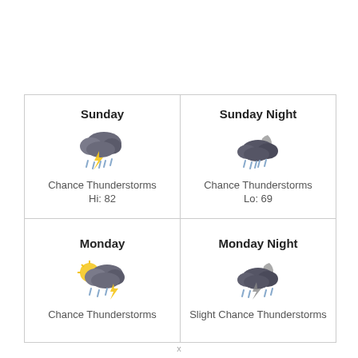[Figure (infographic): Weather forecast grid showing Sunday (Chance Thunderstorms, Hi: 82), Sunday Night (Chance Thunderstorms, Lo: 69), Monday (Chance Thunderstorms), Monday Night (Slight Chance Thunderstorms) with weather icons]
x